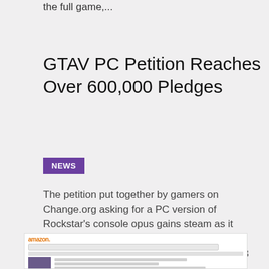the full game,...
GTAV PC Petition Reaches Over 600,000 Pledges
NEWS
The petition put together by gamers on Change.org asking for a PC version of Rockstar's console opus gains steam as it reaches a new total of 611,791 supporters. Rockstar released Grand theft Auto V on PS3 and Xbox 360 in September, and has since broke many records in terms of...
[Figure (screenshot): Amazon product page screenshot showing Grand Theft Auto V listing with thumbnail image]